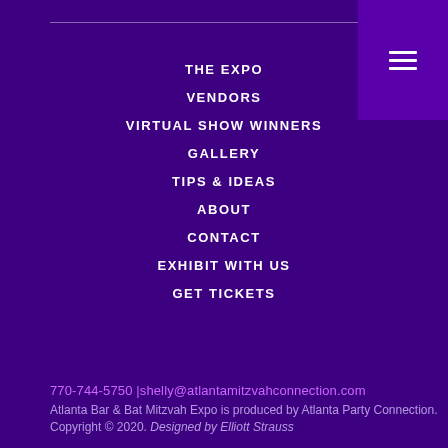THE EXPO
VENDORS
VIRTUAL SHOW WINNERS
GALLERY
TIPS & IDEAS
ABOUT
CONTACT
EXHIBIT WITH US
GET TICKETS
770-744-5750 |shelly@atlantamitzvahconnection.com
Atlanta Bar & Bat Mitzvah Expo is produced by Atlanta Party Connection. Copyright © 2020. Designed by Elliott Strauss